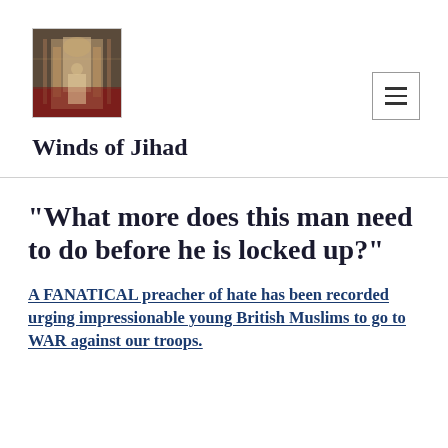[Figure (photo): Small square logo image showing an interior architectural scene, likely a painting of a cathedral or mosque interior with figures]
Winds of Jihad
"What more does this man need to do before he is locked up?"
A FANATICAL preacher of hate has been recorded urging impressionable young British Muslims to go to WAR against our troops.